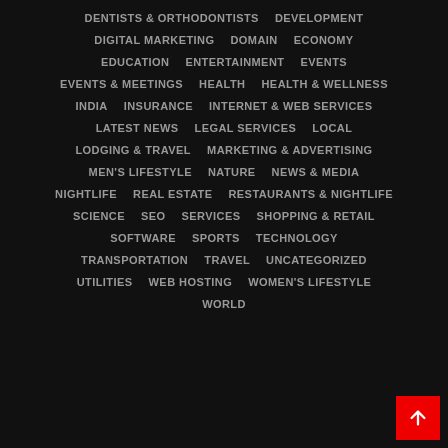DENTISTS & ORTHODONTISTS
DEVELOPMENT
DIGITAL MARKETING
DOMAIN
ECONOMY
EDUCATION
ENTERTAINMENT
EVENTS
EVENTS & MEETINGS
HEALTH
HEALTH & WELLNESS
INDIA
INSURANCE
INTERNET & WEB SERVICES
LATEST NEWS
LEGAL SERVICES
LOCAL
LODGING & TRAVEL
MARKETING & ADVERTISING
MEN'S LIFESTYLE
NATURE
NEWS & MEDIA
NIGHTLIFE
REAL ESTATE
RESTAURANTS & NIGHTLIFE
SCIENCE
SEO
SERVICES
SHOPPING & RETAIL
SOFTWARE
SPORTS
TECHNOLOGY
TRANSPORTATION
TRAVEL
UNCATEGORIZED
UTILITIES
WEB HOSTING
WOMEN'S LIFESTYLE
WORLD